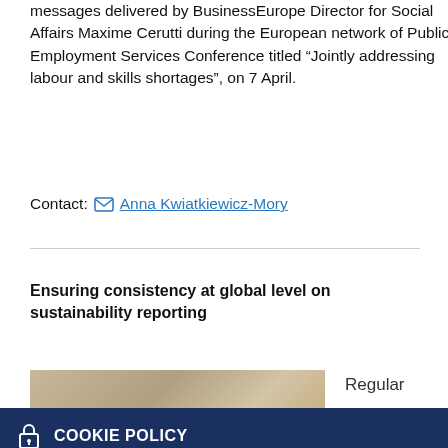messages delivered by BusinessEurope Director for Social Affairs Maxime Cerutti during the European network of Public Employment Services Conference titled “Jointly addressing labour and skills shortages”, on 7 April.
Contact: Anna Kwiatkiewicz-Mory
Ensuring consistency at global level on sustainability reporting
Regular
[Figure (photo): Partial photo of what appears to be a wooden surface or table, shown at the bottom of the page, partially obscured by cookie banner.]
COOKIE POLICY
We use cookies to make sure you get the best experience on our website. Please read our privacy and cookie policy.
Yes, I accept cookies    No, I want more info